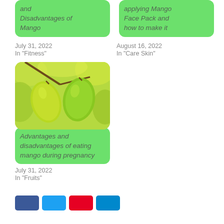[Figure (illustration): Green card with italic text partially visible at top: 'and Disadvantages of Mango']
[Figure (illustration): Green card with italic text partially visible at top: 'applying Mango Face Pack and how to make it']
July 31, 2022
In "Fitness"
August 16, 2022
In "Care Skin"
[Figure (photo): Photo of green mangoes hanging from a tree branch with green foliage in background, with a green overlay card below showing title text]
Advantages and disadvantages of eating mango during pregnancy
July 31, 2022
In "Fruits"